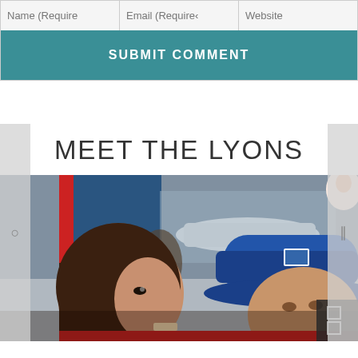[Figure (screenshot): Form input fields row with Name (Required), Email (Required), and Website placeholders]
[Figure (screenshot): Teal 'SUBMIT COMMENT' button bar]
MEET THE LYONS
[Figure (photo): Photograph of a couple (The Lyons) outdoors, the man wearing a blue Patagonia trucker hat, the woman with long dark hair, appearing to eat ice cream]